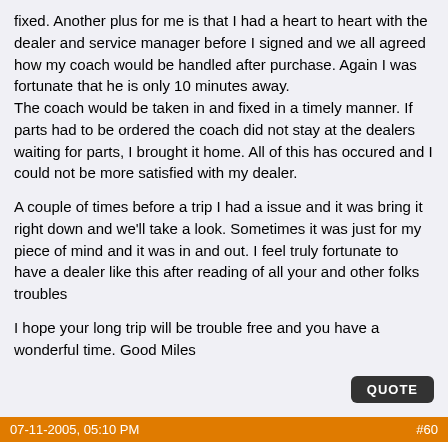fixed. Another plus for me is that I had a heart to heart with the dealer and service manager before I signed and we all agreed how my coach would be handled after purchase. Again I was fortunate that he is only 10 minutes away.
The coach would be taken in and fixed in a timely manner. If parts had to be ordered the coach did not stay at the dealers waiting for parts, I brought it home. All of this has occured and I could not be more satisfied with my dealer.

A couple of times before a trip I had a issue and it was bring it right down and we'll take a look. Sometimes it was just for my piece of mind and it was in and out. I feel truly fortunate to have a dealer like this after reading of all your and other folks troubles

I hope your long trip will be trouble free and you have a wonderful time. Good Miles
07-11-2005, 05:10 PM  #60
timz61
Join Date: Aug 2004
Posts: 10
I long and tale on Winnebago build quality and quality of service. We